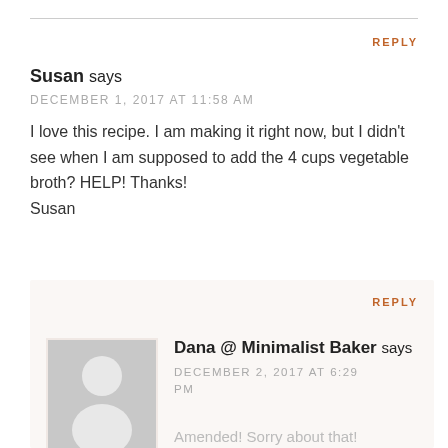REPLY
Susan says
DECEMBER 1, 2017 AT 11:58 AM
I love this recipe. I am making it right now, but I didn't see when I am supposed to add the 4 cups vegetable broth? HELP! Thanks!
Susan
REPLY
Dana @ Minimalist Baker says
DECEMBER 2, 2017 AT 6:29 PM
Amended! Sorry about that!